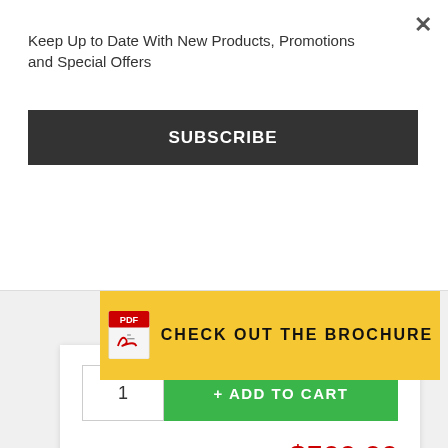Keep Up to Date With New Products, Promotions and Special Offers
SUBSCRIBE
[Figure (screenshot): Yellow brochure banner with PDF icon and text CHECK OUT THE BROCHURE]
1
+ ADD TO CART
CCI Price
$500.00
Get More Value with CCI Solutions
Free UPS Shipping
Worry-Free Guarantee